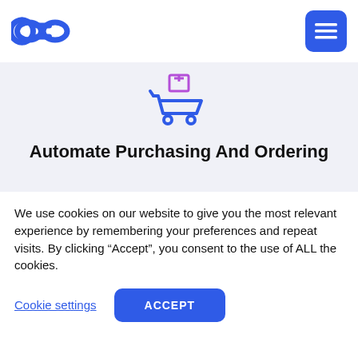Logo and navigation header with hamburger menu
[Figure (illustration): Shopping cart icon with a package box on top, in blue and purple colors]
Automate Purchasing And Ordering
[Figure (illustration): Purple chevron/caret up arrow icon]
We use cookies on our website to give you the most relevant experience by remembering your preferences and repeat visits. By clicking “Accept”, you consent to the use of ALL the cookies.
Cookie settings  ACCEPT